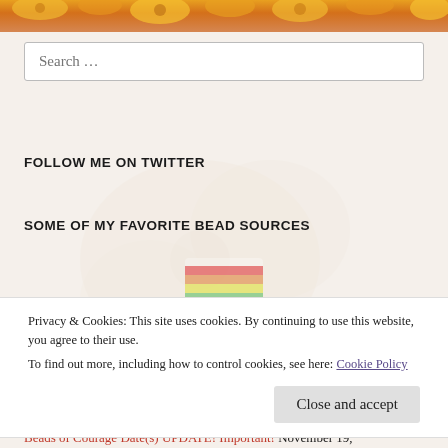[Figure (photo): Yellow and orange flowers banner image at top of page]
Search …
FOLLOW ME ON TWITTER
My Tweets
SOME OF MY FAVORITE BEAD SOURCES
[Figure (photo): Small rainbow-colored bead/stripe image]
Privacy & Cookies: This site uses cookies. By continuing to use this website, you agree to their use.
To find out more, including how to control cookies, see here: Cookie Policy
Close and accept
Beads of Courage Date(s) UPDATE! Important! November 19,